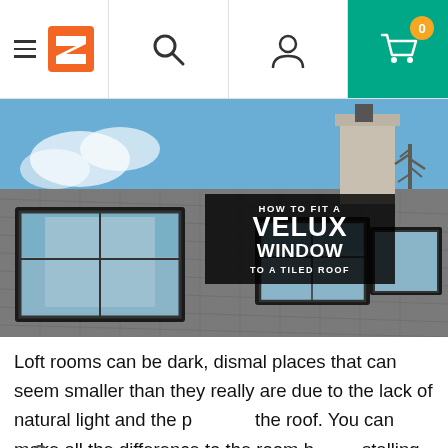Navigation bar with hamburger menu, logo, search, account, and cart (0 items)
[Figure (photo): Aerial view of a tiled roof with three Velux skylights installed, blue sky and chimney in background. Overlaid text: HOW TO FIT A VELUX WINDOW TO A TILED ROOF]
Loft rooms can be dark, dismal places that can seem smaller than they really are due to the lack of natural light and the p[itch of] the roof. You can make all the difference to the room b[y in]stalling a Velux window – and do not worry if your roof is